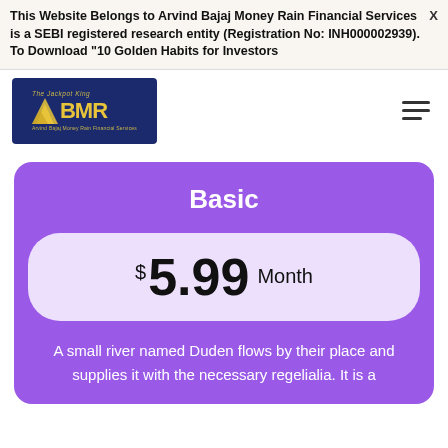This Website Belongs to Arvind Bajaj Money Rain Financial Services is a SEBI registered research entity (Registration No: INH000002939). To Download "10 Golden Habits for Investors
[Figure (logo): BMR - Arvind Bajaj Money Rain Financial Services logo with gold triangular mark on dark blue background]
Basic
$5.99 Month
A small river named Duden flows by their place and supplies it with the necessary regelialia. It is a